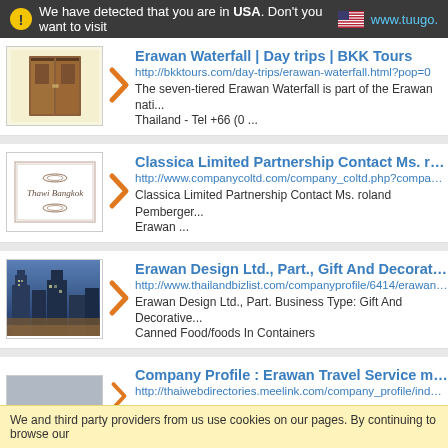We have detected that you are in USA. Don't you want to visit www.tuugo.
Erawan Waterfall | Day trips | BKK Tours
http://bkktours.com/day-trips/erawan-waterfall.html?pop=0
The seven-tiered Erawan Waterfall is part of the Erawan nati... Thailand - Tel +66 (0 ...
Classica Limited Partnership Contact Ms. roland Pemberger...
http://www.companycoltd.com/company_coltd.php?company...
Classica Limited Partnership Contact Ms. roland Pemberger... Erawan ...
Erawan Design Ltd., Part., Gift And Decorativ...
http://www.thailandbizlist.com/companyprofile/6414/erawan-d...
Erawan Design Ltd., Part. Business Type: Gift And Decorative... Canned Food/foods In Containers
Company Profile : Erawan Travel Service ma...
http://thaiwebdirectories.meelink.com/company_profile/index/...
We and third party providers from us use cookies on our pages. By continuing to browse our